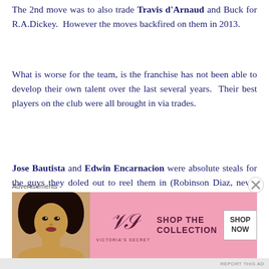The 2nd move was to also trade Travis d'Arnaud and Buck for R.A.Dickey. However the moves backfired on them in 2013.
What is worse for the team, is the franchise has not been able to develop their own talent over the last several years. Their best players on the club were all brought in via trades.
Jose Bautista and Edwin Encarnacion were absolute steals for the guys they doled out to reel them in (Robinson Diaz, never played in the Majors for Pit in the Joey Bats deal, and they originally acquired in the Scott Rolen traded to Cincy. He was selected off of waivers by
Advertisements
[Figure (other): Victoria's Secret advertisement banner with a model photo on the left, VS logo in the center, 'SHOP THE COLLECTION' text, and a 'SHOP NOW' white button on the right. Pink background.]